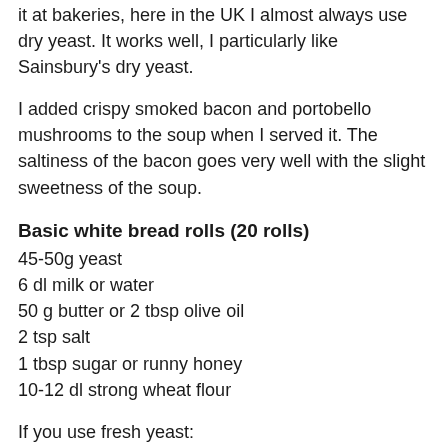it at bakeries, here in the UK I almost always use dry yeast. It works well, I particularly like Sainsbury's dry yeast.
I added crispy smoked bacon and portobello mushrooms to the soup when I served it. The saltiness of the bacon goes very well with the slight sweetness of the soup.
Basic white bread rolls (20 rolls)
45-50g yeast
6 dl milk or water
50 g butter or 2 tbsp olive oil
2 tsp salt
1 tbsp sugar or runny honey
10-12 dl strong wheat flour
If you use fresh yeast:
- Dissolve the yeast in a little milk or water first in a large bowl
- Melt the butter, warm the milk or water. If you use fresh yeast, warm the liquid to 37C (finger temperature)
- Add the warm liquid to the yeast mixture and stir until the